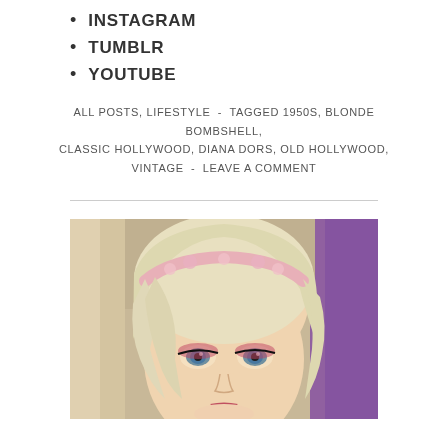INSTAGRAM
TUMBLR
YOUTUBE
ALL POSTS, LIFESTYLE - TAGGED 1950S, BLONDE BOMBSHELL, CLASSIC HOLLYWOOD, DIANA DORS, OLD HOLLYWOOD, VINTAGE - LEAVE A COMMENT
[Figure (photo): Close-up selfie photo of a blonde woman wearing a pink floral headband, with blue eyes and red eyeshadow, platinum blonde hair covering one eye, in an indoor setting with a pink curtain visible in the background.]